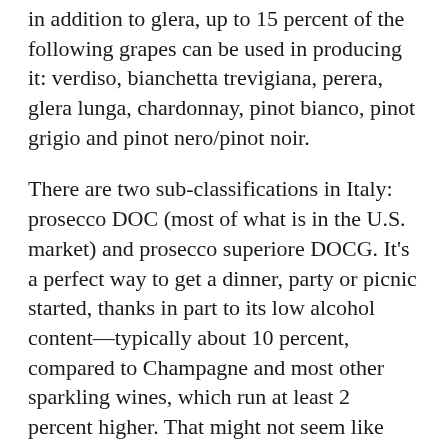in addition to glera, up to 15 percent of the following grapes can be used in producing it: verdiso, bianchetta trevigiana, perera, glera lunga, chardonnay, pinot bianco, pinot grigio and pinot nero/pinot noir.
There are two sub-classifications in Italy: prosecco DOC (most of what is in the U.S. market) and prosecco superiore DOCG. It's a perfect way to get a dinner, party or picnic started, thanks in part to its low alcohol content—typically about 10 percent, compared to Champagne and most other sparkling wines, which run at least 2 percent higher. That might not seem like much, but the slightly lower alcohol content makes prosecco easier-drinking, less filling and surprisingly food-friendly. It's also a pleasing, light, simple wine to drink on the patio in warm weather.